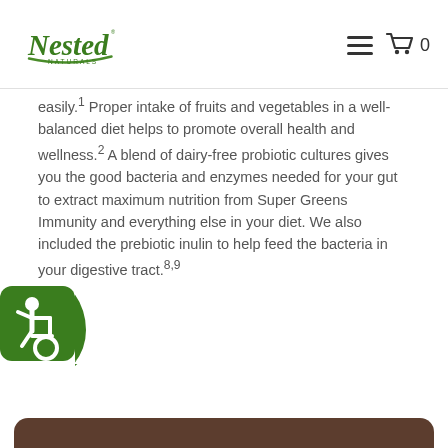Nested Naturals — navigation header with logo, hamburger menu, and cart icon showing 0
easily.1 Proper intake of fruits and vegetables in a well-balanced diet helps to promote overall health and wellness.2 A blend of dairy-free probiotic cultures gives you the good bacteria and enzymes needed for your gut to extract maximum nutrition from Super Greens Immunity and everything else in your diet. We also included the prebiotic inulin to help feed the bacteria in your digestive tract.8,9
[Figure (logo): Accessibility (wheelchair) logo badge — green rounded square with white wheelchair user icon]